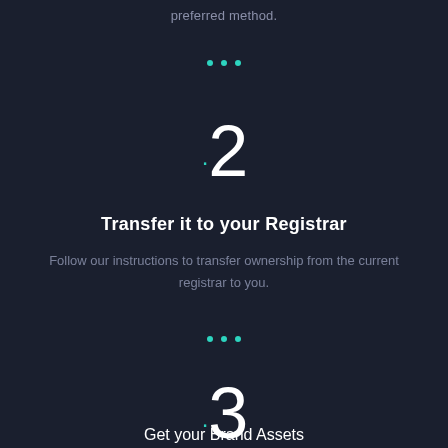preferred method.
[Figure (other): Three teal dots separator]
.2
Transfer it to your Registrar
Follow our instructions to transfer ownership from the current registrar to you.
[Figure (other): Three teal dots separator]
.3
Get your Brand Assets